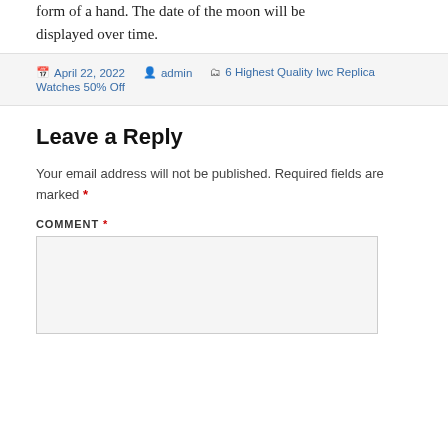form of a hand. The date of the moon will be displayed over time.
Posted on April 22, 2022  By admin  Categories 6 Highest Quality Iwc Replica Watches 50% Off
Leave a Reply
Your email address will not be published. Required fields are marked *
COMMENT *